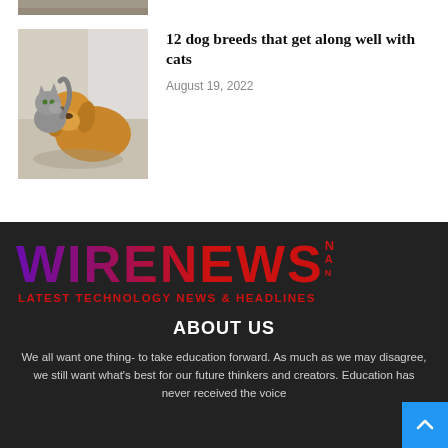[Figure (photo): Cropped bottom edge of a photo — partial animal image visible at top of page]
[Figure (photo): A golden/cocker spaniel dog and a grey cat together, the cat rubbing against the dog's face indoors near a window]
12 dog breeds that get along well with cats
August 19, 2022
[Figure (logo): WireNews logo with tagline LATEST TECHNOLOGY NEWS & HEADLINES on dark background]
ABOUT US
We all want one thing- to take education forward. As much as we may disagree, we still want what's best for our future thinkers and creators. Education has never received the voice...